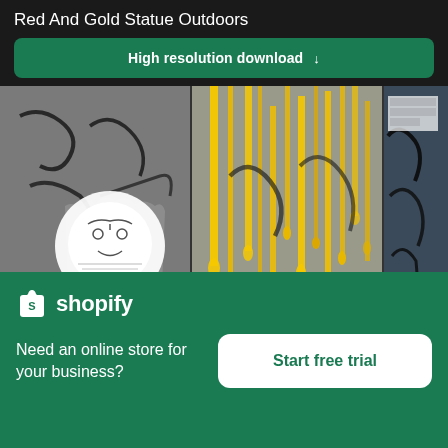Red And Gold Statue Outdoors
High resolution download ↓
[Figure (photo): Street graffiti and urban art collage: left panel shows grey textured wall with black graffiti tags and torn white sticker with illustrated face and red paint splatters; center panel shows yellow paint dripping vertically down a grey surface; right panel shows dark surface with black graffiti tags and torn paper/sticker elements]
[Figure (logo): Shopify logo: white shopping bag icon with 'S' and white text 'shopify']
Need an online store for your business?
Start free trial